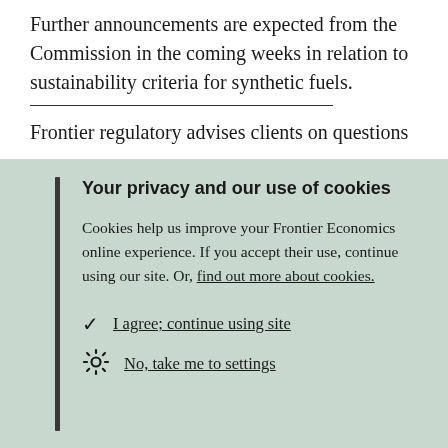Further announcements are expected from the Commission in the coming weeks in relation to sustainability criteria for synthetic fuels.
Frontier regulatory advises clients on questions
Your privacy and our use of cookies
Cookies help us improve your Frontier Economics online experience. If you accept their use, continue using our site. Or, find out more about cookies.
I agree; continue using site
No, take me to settings